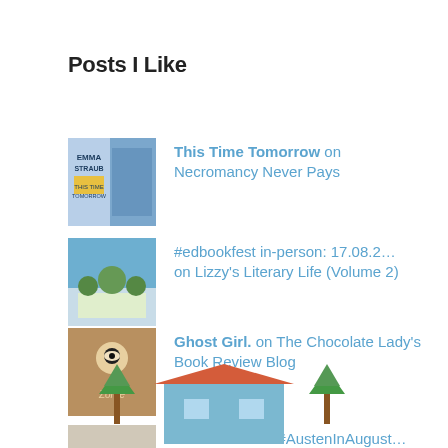Posts I Like
This Time Tomorrow on Necromancy Never Pays
#edbookfest in-person: 17.08.2… on Lizzy's Literary Life (Volume 2)
Ghost Girl. on The Chocolate Lady's Book Review Blog
Mansfield Park #AustenInAugust… on Roof Beam Reader
"...it is our job to search fo… on Kaggsy's Bookish Ramblings
[Figure (illustration): Partial illustration of book covers or decorative image at the bottom of the page, partially cropped]